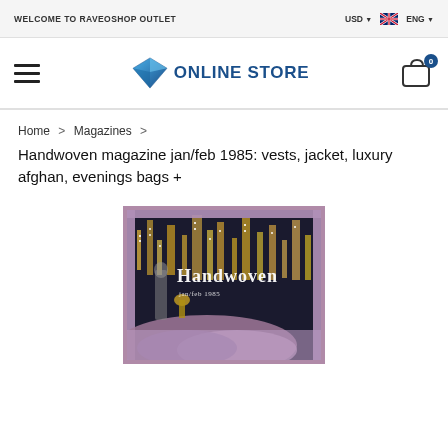WELCOME TO RAVEOSHOP OUTLET | USD | ENG
[Figure (logo): Diamond shape logo with text ONLINE STORE in blue, hamburger menu icon on left, shopping cart icon with badge 0 on right]
Home > Magazines >
Handwoven magazine jan/feb 1985: vests, jacket, luxury afghan, evenings bags +
[Figure (photo): Magazine cover showing Handwoven magazine with cityscape background and fabric/textile in foreground]